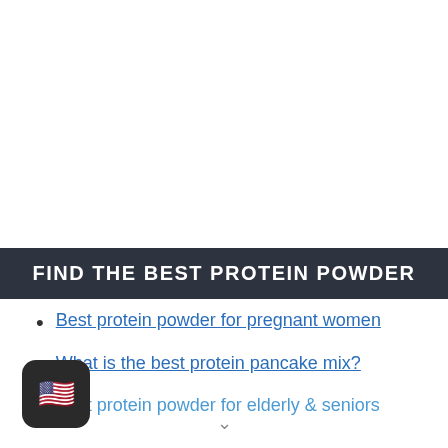FIND THE BEST PROTEIN POWDER
Best protein powder for pregnant women
What is the best protein pancake mix?
Best protein powder for elderly & seniors
[Figure (other): US flag icon widget button, dark rounded rectangle background with US flag emoji]